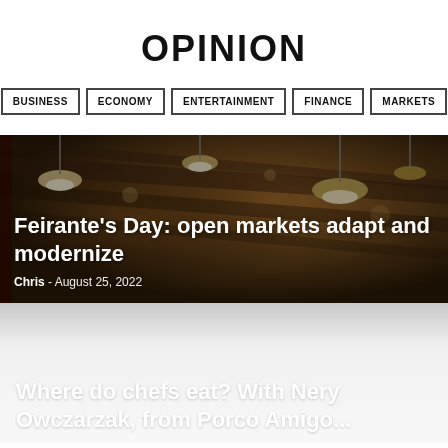OPINION
BUSINESS
ECONOMY
ENTERTAINMENT
FINANCE
MARKETS
[Figure (photo): Interior of a covered market with hanging pendant lights and warm ambient lighting, dark overhead beams, used as hero image background]
Feirante’s Day: open markets adapt and modernize
Chris  -  August 25, 2022
[Figure (photo): Gradient background (gray to light) used as background for second article teaser at bottom of page]
Where do chefs eat? With Nery Owczarzak, from Porco Amigo...